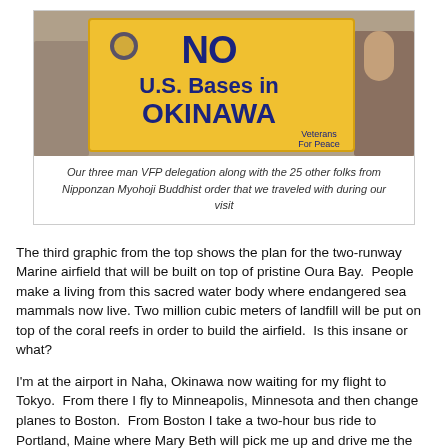[Figure (photo): Photo of people holding a yellow banner reading 'NO U.S. Bases in OKINAWA – Veterans For Peace']
Our three man VFP delegation along with the 25 other folks from Nipponzan Myohoji Buddhist order that we traveled with during our visit
The third graphic from the top shows the plan for the two-runway Marine airfield that will be built on top of pristine Oura Bay.  People make a living from this sacred water body where endangered sea mammals now live. Two million cubic meters of landfill will be put on top of the coral reefs in order to build the airfield.  Is this insane or what?
I'm at the airport in Naha, Okinawa now waiting for my flight to Tokyo.  From there I fly to Minneapolis, Minnesota and then change planes to Boston.  From Boston I take a two-hour bus ride to Portland, Maine where Mary Beth will pick me up and drive me the final 45 minute leg to Bath.  So it's a long trip home.